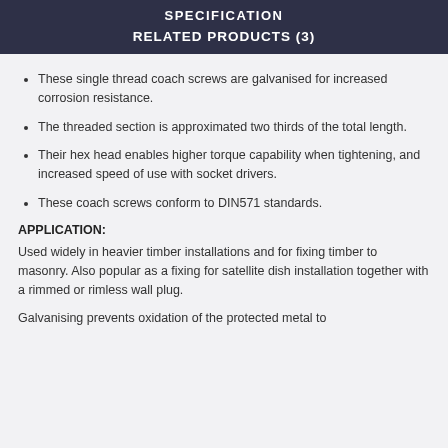SPECIFICATION
RELATED PRODUCTS (3)
These single thread coach screws are galvanised for increased corrosion resistance.
The threaded section is approximated two thirds of the total length.
Their hex head enables higher torque capability when tightening, and increased speed of use with socket drivers.
These coach screws conform to DIN571 standards.
APPLICATION:
Used widely in heavier timber installations and for fixing timber to masonry. Also popular as a fixing for satellite dish installation together with a rimmed or rimless wall plug.
Galvanising prevents oxidation of the protected metal to